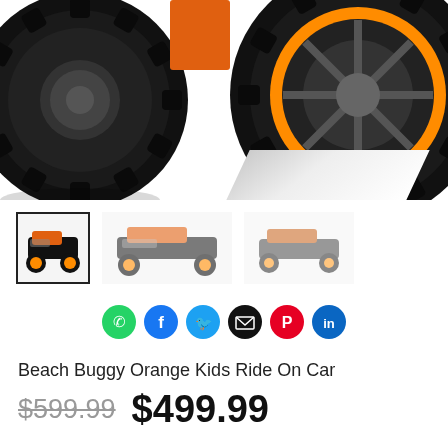[Figure (photo): Close-up of black toy buggy wheels with orange rim accents against white background, showing two large treaded tires]
[Figure (photo): Three thumbnail images of Beach Buggy Orange Kids Ride On Car from different angles]
[Figure (infographic): Social sharing buttons: WhatsApp (green), Facebook (blue), Twitter (blue), Email (black), Pinterest (red), LinkedIn (blue)]
Beach Buggy Orange Kids Ride On Car
$599.99  $499.99